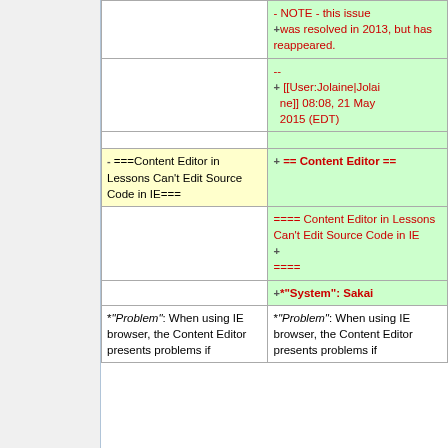|  | - NOTE - this issue was resolved in 2013, but has reappeared. |
|  | -- [[User:Jolaine|Jolaine]] 08:08, 21 May 2015 (EDT) |
|  |  |
| ===Content Editor in Lessons Can't Edit Source Code in IE=== | == Content Editor == |
|  | ==== Content Editor in Lessons Can't Edit Source Code in IE ==== |
|  | *"System": Sakai |
| *"Problem": When using IE browser, the Content Editor presents problems if | *"Problem": When using IE browser, the Content Editor presents problems if |